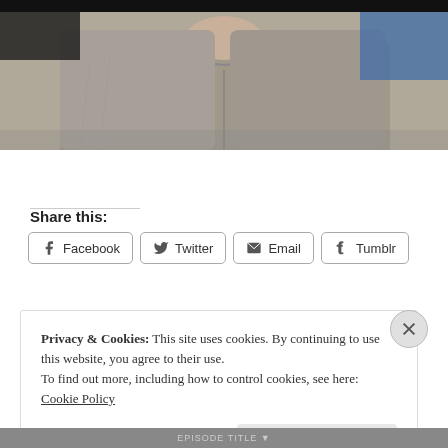[Figure (photo): Cropped photo of a person wearing a grey hoodie, visible from the neck/chin area down to the chest. Blue light visible in the upper right background.]
Share this:
Facebook  Twitter  Email  Tumblr
Privacy & Cookies: This site uses cookies. By continuing to use this website, you agree to their use. To find out more, including how to control cookies, see here: Cookie Policy
Close and accept